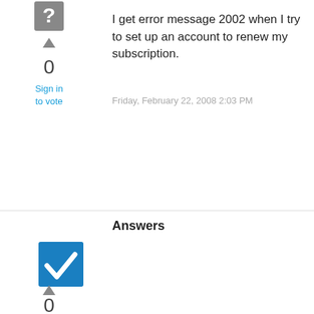[Figure (other): Gray question mark icon badge]
▲
0
Sign in to vote
I get error message 2002 when I try to set up an account to renew my subscription.
Friday, February 22, 2008 2:03 PM
Answers
[Figure (other): Blue checkbox with white checkmark indicating accepted answer]
▲
0